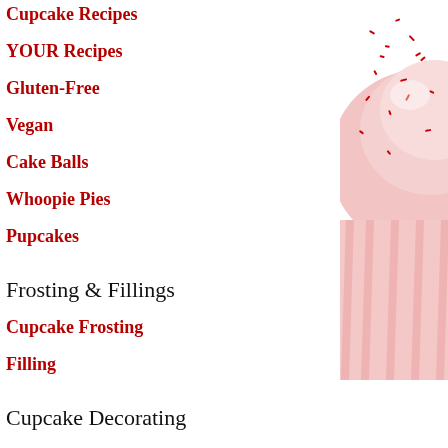Cupcake Recipes
YOUR Recipes
Gluten-Free
Vegan
Cake Balls
Whoopie Pies
Pupcakes
Frosting & Fillings
Cupcake Frosting
Filling
Cupcake Decorating
[Figure (photo): A pink cupcake with red sprinkles on top, shown on the right side of the page, partially cropped.]